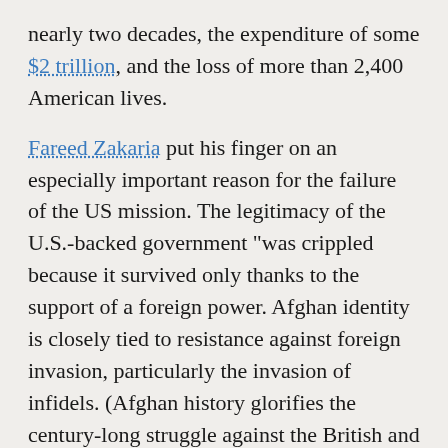nearly two decades, the expenditure of some $2 trillion, and the loss of more than 2,400 American lives.
Fareed Zakaria put his finger on an especially important reason for the failure of the US mission. The legitimacy of the U.S.-backed government "was crippled because it survived only thanks to the support of a foreign power. Afghan identity is closely tied to resistance against foreign invasion, particularly the invasion of infidels. (Afghan history glorifies the century-long struggle against the British and the jihad against the godless Soviet Union.) It is easy to use these tropes to mobilize nationalism and religious devotion, which powerfully fuel the will to fight and die." The Taliban used that formula to perfection. Yet three successive administrations